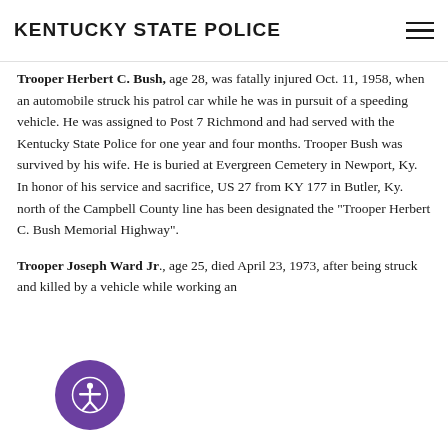KENTUCKY STATE POLICE
sacrifice, US 26 (Dixie Highway) from the Boone County line to I-275 (Mile Points 4.978-7.589) has been designated the "Trooper Robert Renaker Miller Memorial Highway".
Trooper Herbert C. Bush, age 28, was fatally injured Oct. 11, 1958, when an automobile struck his patrol car while he was in pursuit of a speeding vehicle. He was assigned to Post 7 Richmond and had served with the Kentucky State Police for one year and four months. Trooper Bush was survived by his wife. He is buried at Evergreen Cemetery in Newport, Ky. In honor of his service and sacrifice, US 27 from KY 177 in Butler, Ky. north of the Campbell County line has been designated the “Trooper Herbert C. Bush Memorial Highway”.
Trooper Joseph Ward Jr., age 25, died April 23, 1973, after being struck and killed by a vehicle while working an